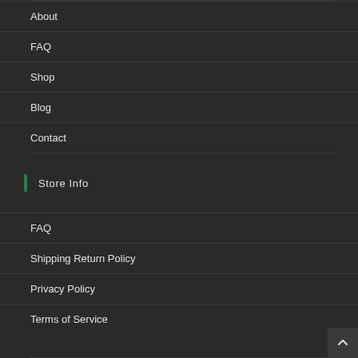About
FAQ
Shop
Blog
Contact
Store Info
FAQ
Shipping Return Policy
Privacy Policy
Terms of Service